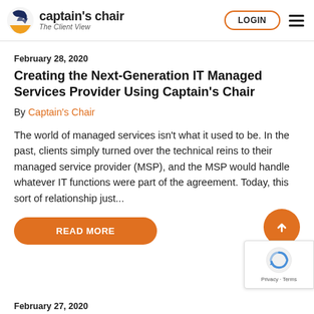captain's chair — The Client View | LOGIN
February 28, 2020
Creating the Next-Generation IT Managed Services Provider Using Captain's Chair
By Captain's Chair
The world of managed services isn't what it used to be. In the past, clients simply turned over the technical reins to their managed service provider (MSP), and the MSP would handle whatever IT functions were part of the agreement. Today, this sort of relationship just...
READ MORE